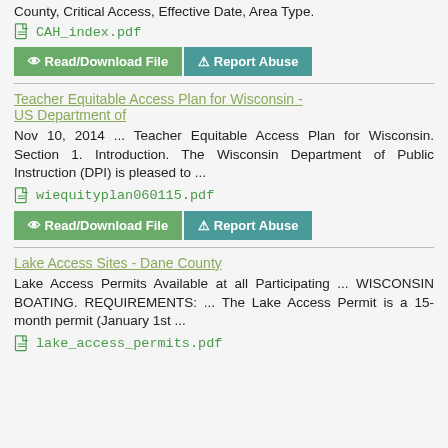County, Critical Access, Effective Date, Area Type.
CAH_index.pdf
Read/Download File   Report Abuse
Teacher Equitable Access Plan for Wisconsin - US Department of
Nov 10, 2014 ... Teacher Equitable Access Plan for Wisconsin. Section 1. Introduction. The Wisconsin Department of Public Instruction (DPI) is pleased to ...
wiequityplan060115.pdf
Read/Download File   Report Abuse
Lake Access Sites - Dane County
Lake Access Permits Available at all Participating ... WISCONSIN BOATING. REQUIREMENTS: ... The Lake Access Permit is a 15-month permit (January 1st ...
lake_access_permits.pdf